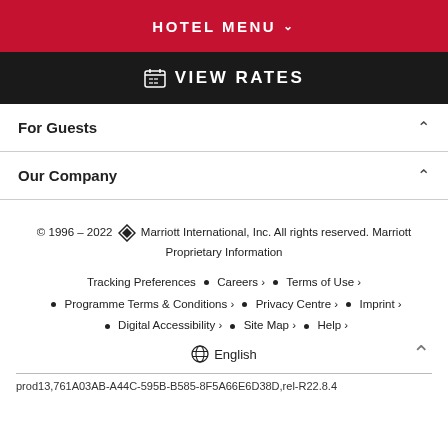HOTEL MENU
VIEW RATES
For Guests
Our Company
© 1996 – 2022 Marriott International, Inc. All rights reserved. Marriott Proprietary Information
Tracking Preferences • Careers > • Terms of Use > • Programme Terms & Conditions > • Privacy Centre > • Imprint > • Digital Accessibility > • Site Map > • Help >
English
prod13,761A03AB-A44C-595B-B585-8F5A66E6D38D,rel-R22.8.4